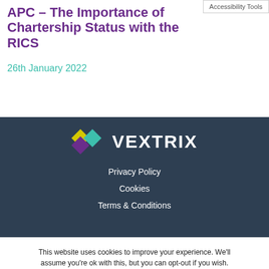Accessibility Tools
APC – The Importance of Chartership Status with the RICS
26th January 2022
[Figure (logo): Vextrix logo with diamond shapes in yellow, teal, and purple, followed by text VEXTRIX in white on dark background]
Privacy Policy
Cookies
Terms & Conditions
This website uses cookies to improve your experience. We'll assume you're ok with this, but you can opt-out if you wish.
Cookie settings   ACCEPT